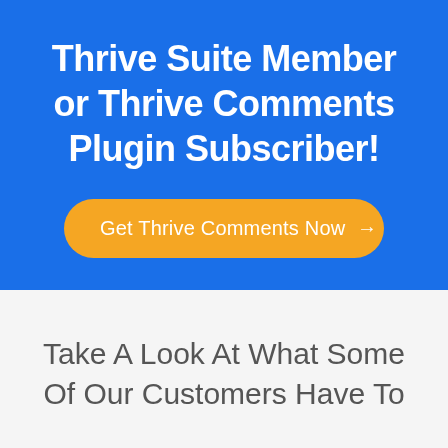Thrive Suite Member or Thrive Comments Plugin Subscriber!
Get Thrive Comments Now →
Take A Look At What Some Of Our Customers Have To